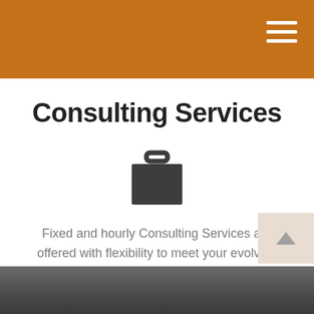Consulting Services
[Figure (illustration): Briefcase icon — dark gray silhouette of a briefcase with handle on top]
Fixed and hourly Consulting Services are offered with flexibility to meet your evolving needs. Initial consultations are always complimentary.
[Figure (photo): Bottom portion of photo showing a dark desk surface with office items]